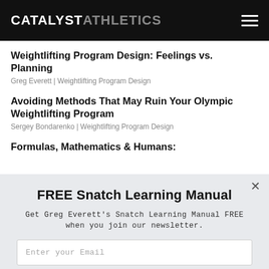CATALYST ATHLETICS
Weightlifting Program Design: Feelings vs. Planning
Greg Everett | Weightlifting Program Design
Avoiding Methods That May Ruin Your Olympic Weightlifting Program
Sergey Bondarenko | Weightlifting Program Design
Formulas, Mathematics & Humans:
FREE Snatch Learning Manual
Get Greg Everett's Snatch Learning Manual FREE when you join our newsletter.
Enter your Email
SUBSCRIBE NOW